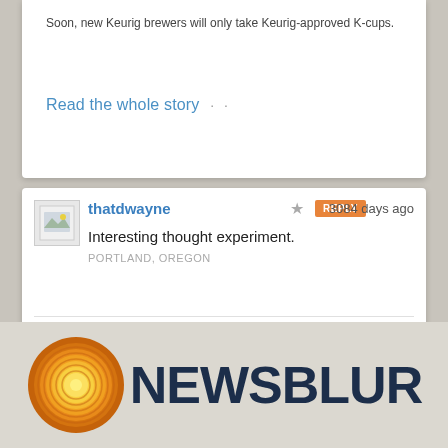Soon, new Keurig brewers will only take Keurig-approved K-cups.
Read the whole story · ·
thatdwayne
★
REPLY
3084 days ago
Interesting thought experiment.
PORTLAND, OREGON
Comment on this story...
Share this story
[Figure (logo): NewsBlur logo with orange circular icon and dark navy bold text NEWSBLUR]